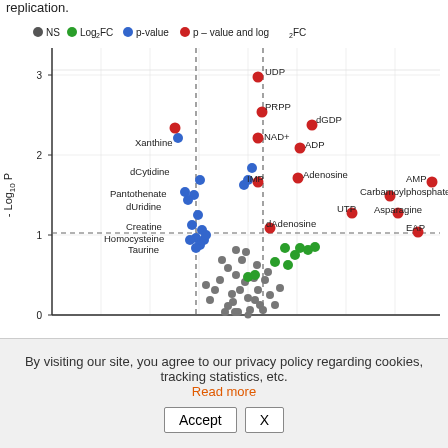replication.
[Figure (scatter-plot): Volcano plot showing metabolite significance. NS (gray), Log2 FC (green), p-value (blue), p-value and log2 FC (red) points. Labeled metabolites include UDP, PRPP, NAD+, dGDP, ADP, Adenosine, Xanthine, dCytidine, Pantothenate, dUridine, Creatine, Homocysteine, Taurine, IMP, dAdenosine, UTP, Carbamoylphosphate, Asparagine, EAP, AMP.]
By visiting our site, you agree to our privacy policy regarding cookies, tracking statistics, etc. Read more
Accept  X